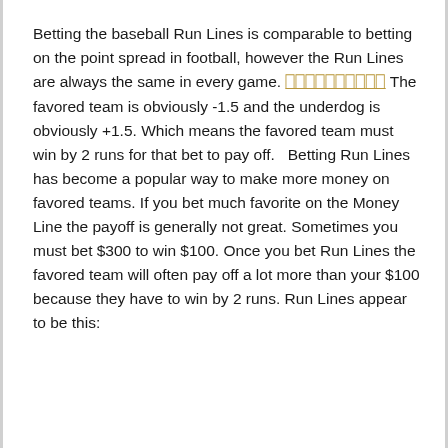Betting the baseball Run Lines is comparable to betting on the point spread in football, however the Run Lines are always the same in every game. [link] The favored team is obviously -1.5 and the underdog is obviously +1.5. Which means the favored team must win by 2 runs for that bet to pay off.   Betting Run Lines has become a popular way to make more money on favored teams. If you bet much favorite on the Money Line the payoff is generally not great. Sometimes you must bet $300 to win $100. Once you bet Run Lines the favored team will often pay off a lot more than your $100 because they have to win by 2 runs. Run Lines appear to be this: